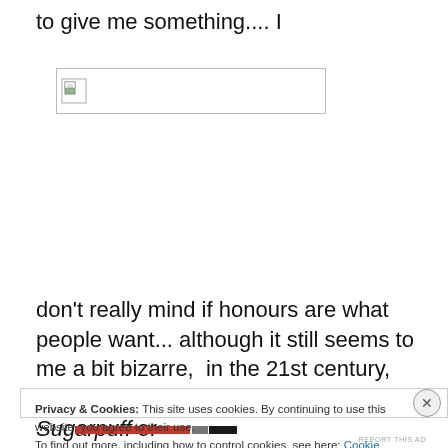to give me something.... I
[Figure (other): Broken image placeholder — small document icon in a bordered rectangle]
don't really mind if honours are what people want... although it still seems to me a bit bizarre,  in the 21st century,  that people want to be called Baron Sugarpuff or
Privacy & Cookies: This site uses cookies. By continuing to use this website, you agree to their use. To find out more, including how to control cookies, see here: Cookie Policy
Close and accept